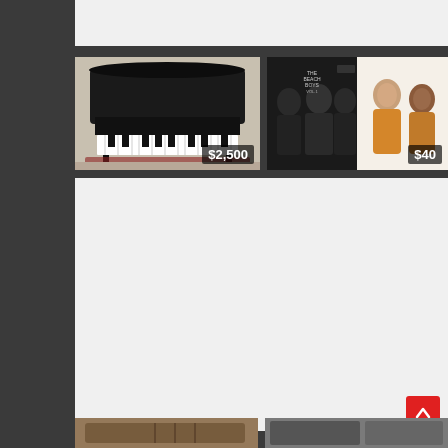[Figure (screenshot): Top partial white content bar from a classifieds/marketplace webpage]
[Figure (photo): Listing card showing a black grand piano with price badge $2,500]
[Figure (photo): Listing card showing Beach Boys vinyl record album with price badge $40]
[Figure (screenshot): Large light gray/white main content area of classifieds webpage]
[Figure (photo): Partial bottom listing card on left showing brown/tan item]
[Figure (photo): Partial bottom listing card on right showing item]